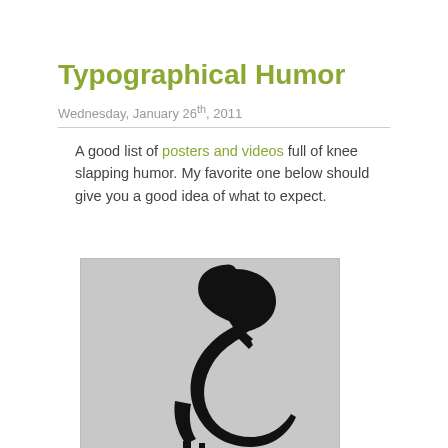Typographical Humor
Wednesday, January 26th, 2011
A good list of posters and videos full of knee slapping humor. My favorite one below should give you a good idea of what to expect.
[Figure (illustration): Large stylized letter S in black on a grey background, shaped to resemble a swan or bird silhouette]